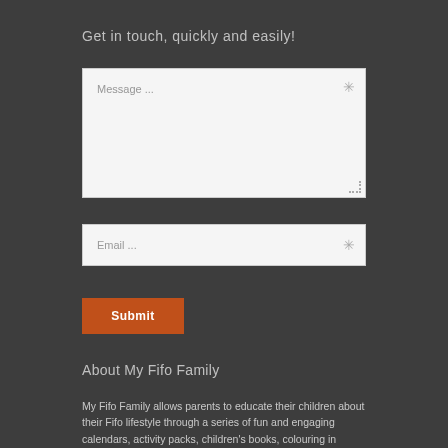Get in touch, quickly and easily!
[Figure (other): Message textarea input field with placeholder text 'Message ...' and asterisk icon]
[Figure (other): Email input field with placeholder text 'Email ...' and asterisk icon]
Submit
About My Fifo Family
My Fifo Family allows parents to educate their children about their Fifo lifestyle through a series of fun and engaging calendars, activity packs, children's books, colouring in books and acessories. At My Fifo Family we believe that Fifo